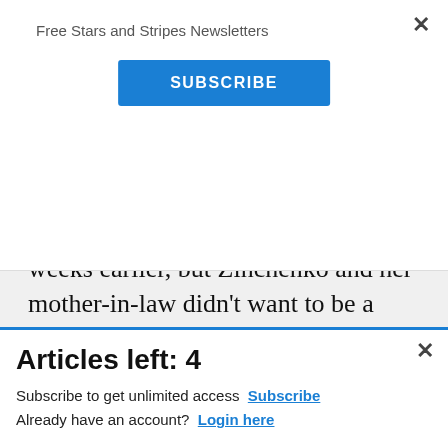Free Stars and Stripes Newsletters
[Figure (screenshot): Blue SUBSCRIBE button]
nowhere to go.
Zinchenko's granddaughter had fled weeks earlier, but Zinchenko and her mother-in-law didn't want to be a burden on her. Strelnikova's
[Figure (screenshot): Commissary Click2Go advertisement banner with green logo and commissary badge]
Articles left: 4
Subscribe to get unlimited access  Subscribe
Already have an account?  Login here